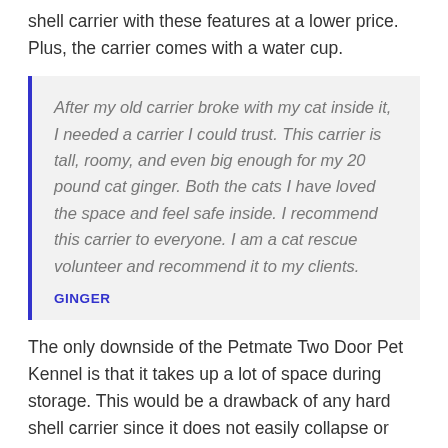shell carrier with these features at a lower price. Plus, the carrier comes with a water cup.
After my old carrier broke with my cat inside it, I needed a carrier I could trust. This carrier is tall, roomy, and even big enough for my 20 pound cat ginger. Both the cats I have loved the space and feel safe inside. I recommend this carrier to everyone. I am a cat rescue volunteer and recommend it to my clients.
GINGER
The only downside of the Petmate Two Door Pet Kennel is that it takes up a lot of space during storage. This would be a drawback of any hard shell carrier since it does not easily collapse or fold down into a smaller piece.